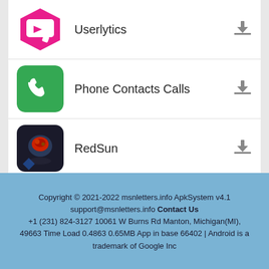Userlytics
Phone Contacts Calls
RedSun
MathX - Math games for 2nd graders
Copyright © 2021-2022 msnletters.info ApkSystem v4.1 support@msnletters.info Contact Us +1 (231) 824-3127 10061 W Burns Rd Manton, Michigan(MI), 49663 Time Load 0.4863 0.65MB App in base 66402 | Android is a trademark of Google Inc